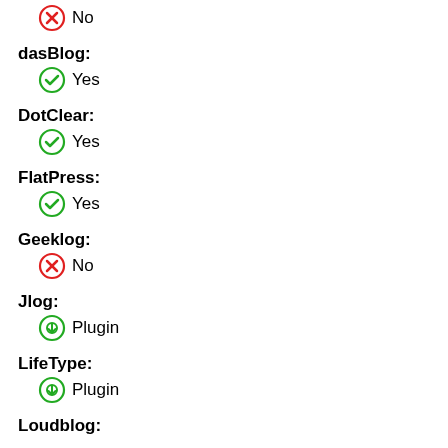No
dasBlog: Yes
DotClear: Yes
FlatPress: Yes
Geeklog: No
Jlog: Plugin
LifeType: Plugin
Loudblog: